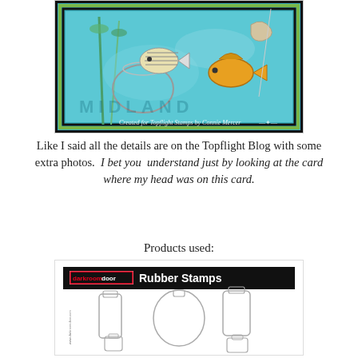[Figure (photo): A crafted card showing fish in an underwater scene with aquatic plants and a mason jar, with text overlay reading 'Created for Topflight Stamps by Connie Mercer']
Like I said all the details are on the Topflight Blog with some extra photos.  I bet you  understand just by looking at the card where my head was on this card.
Products used:
[Figure (photo): Darkroom Door Rubber Stamps product image showing various glass bottle stamp designs on a black and white product package]